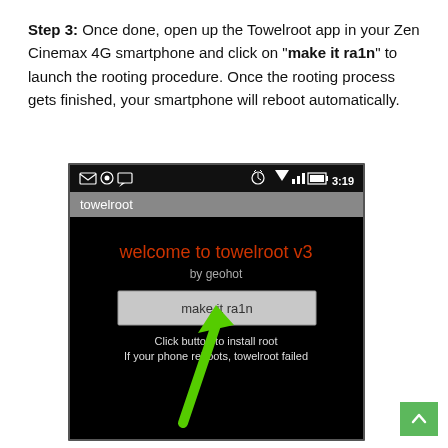Step 3: Once done, open up the Towelroot app in your Zen Cinemax 4G smartphone and click on "make it ra1n" to launch the rooting procedure. Once the rooting process gets finished, your smartphone will reboot automatically.
[Figure (screenshot): Android smartphone screenshot showing the Towelroot v3 app with a 'make it ra1n' button, status bar showing 3:19 time, and a green arrow pointing to the button. Text below reads: Click button to install root. If your phone reboots, towelroot failed.]